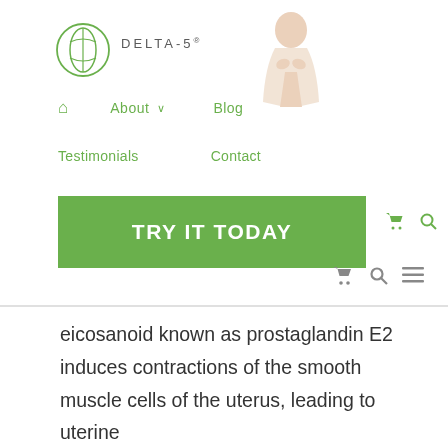[Figure (logo): Delta-5 brand logo with circular leaf/plant emblem and brand name DELTA-5 with registered trademark symbol, plus a woman model image touching her face]
Navigation menu with Home icon, About (with dropdown arrow), Blog, Testimonials, Contact links in green
[Figure (other): Green TRY IT TODAY button with shopping cart and search icons]
[Figure (other): Shopping cart, search, and hamburger menu icons in gray]
eicosanoid known as prostaglandin E2 induces contractions of the smooth muscle cells of the uterus, leading to uterine